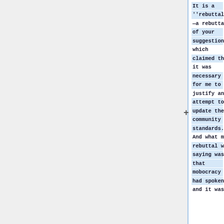It is a ''rebuttal''—a rebuttal of your suggestion, which claimed that it was necessary for me to justify any attempt to update the community standards. And what my rebuttal was saying was that mobocracy had spoken, and it was